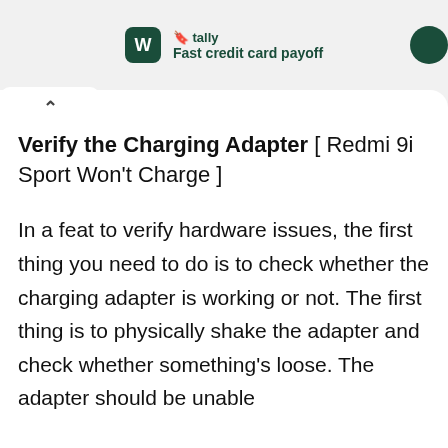[Figure (logo): Tally app logo with green square icon and text 'Fast credit card payoff', with a green circle partially visible on the right]
Verify the Charging Adapter [ Redmi 9i Sport Won't Charge ]
In a feat to verify hardware issues, the first thing you need to do is to check whether the charging adapter is working or not. The first thing is to physically shake the adapter and check whether something's loose. The adapter should be unable